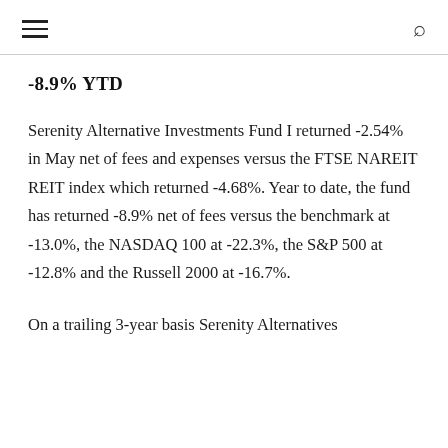≡  🔍
-8.9% YTD
Serenity Alternative Investments Fund I returned -2.54% in May net of fees and expenses versus the FTSE NAREIT REIT index which returned -4.68%. Year to date, the fund has returned -8.9% net of fees versus the benchmark at -13.0%, the NASDAQ 100 at -22.3%, the S&P 500 at -12.8% and the Russell 2000 at -16.7%.
On a trailing 3-year basis Serenity Alternatives